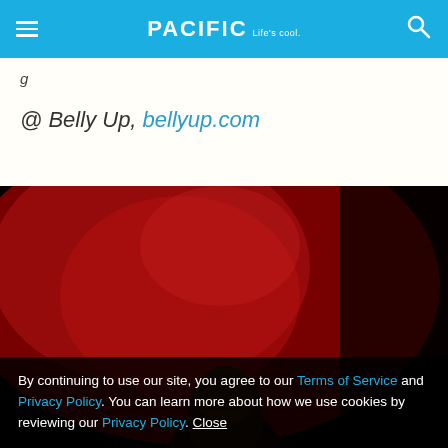PACIFIC Life's cool.
g
@ Belly Up, bellyup.com
[Figure (photo): Dark red-lit performance photo showing a person on stage against a deep red backdrop, partially cropped at bottom]
By continuing to use our site, you agree to our Terms of Service and Privacy Policy. You can learn more about how we use cookies by reviewing our Privacy Policy. Close